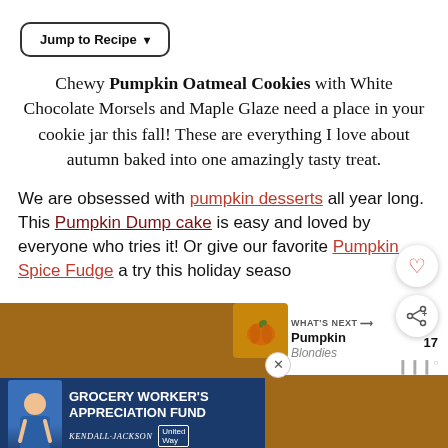Jump to Recipe ▾
Chewy Pumpkin Oatmeal Cookies with White Chocolate Morsels and Maple Glaze need a place in your cookie jar this fall! These are everything I love about autumn baked into one amazingly tasty treat.
We are obsessed with pumpkin desserts all year long. This Pumpkin Dump cake is easy and loved by everyone who tries it! Or give our favorite Pumpkin Spice Fudge a try this holiday seaso
[Figure (photo): Image with golden-brown background showing text 'maple glazed white ch...' and a WHAT'S NEXT panel showing Pumpkin Blondies, plus an advertisement for Grocery Worker's Appreciation Fund featuring Kendall Jackson and United Way logos]